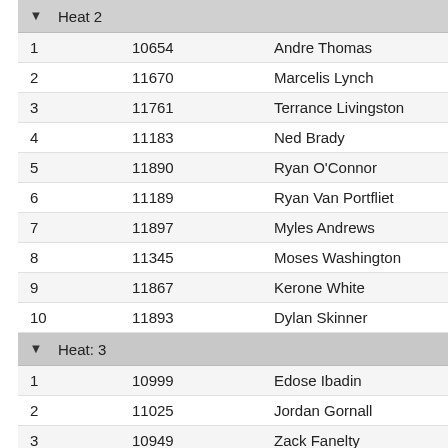|  | Heat 2 |
| --- | --- |
| 1 | 10654 | Andre Thomas |
| 2 | 11670 | Marcelis Lynch |
| 3 | 11761 | Terrance Livingston |
| 4 | 11183 | Ned Brady |
| 5 | 11890 | Ryan O'Connor |
| 6 | 11189 | Ryan Van Portfliet |
| 7 | 11897 | Myles Andrews |
| 8 | 11345 | Moses Washington |
| 9 | 11867 | Kerone White |
| 10 | 11893 | Dylan Skinner |
|  | Heat 3 |
| --- | --- |
| 1 | 10999 | Edose Ibadin |
| 2 | 11025 | Jordan Gornall |
| 3 | 10949 | Zack Fanelty |
| 4 | 10924 | Daniel Grass |
| 5 | 11002 | Larry Ramirez |
| 6 | 11424 | Taylor Sumagpang |
| 7 | 11802 | Jake Burton |